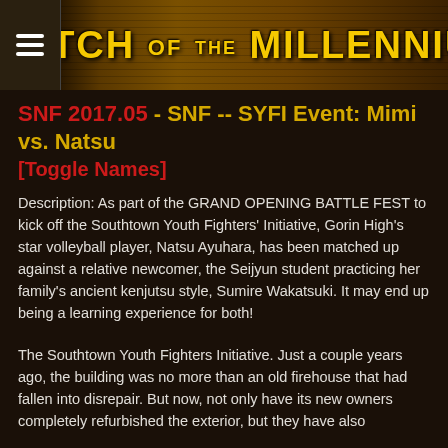MATCH OF THE MILLENNIUM
SNF 2017.05 - SNF -- SYFI Event: Mimi vs. Natsu [Toggle Names]
Description: As part of the GRAND OPENING BATTLE FEST to kick off the Southtown Youth Fighters' Initiative, Gorin High's star volleyball player, Natsu Ayuhara, has been matched up against a relative newcomer, the Seijyun student practicing her family's ancient kenjutsu style, Sumire Wakatsuki. It may end up being a learning experience for both!
The Southtown Youth Fighters Initiative. Just a couple years ago, the building was no more than an old firehouse that had fallen into disrepair. But now, not only have its new owners completely refurbished the exterior, but they have also